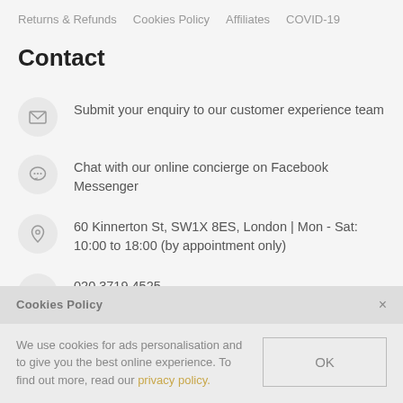Returns & Refunds   Cookies Policy   Affiliates   COVID-19
Contact
Submit your enquiry to our customer experience team
Chat with our online concierge on Facebook Messenger
60 Kinnerton St, SW1X 8ES, London | Mon - Sat: 10:00 to 18:00 (by appointment only)
020 3719 4525
Cookies Policy
We use cookies for ads personalisation and to give you the best online experience. To find out more, read our privacy policy.